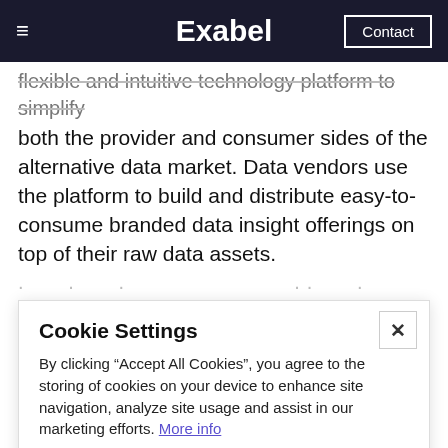≡  Exabel  Contact
flexible and intuitive technology platform to simplify both the provider and consumer sides of the alternative data market. Data vendors use the platform to build and distribute easy-to-consume branded data insight offerings on top of their raw data assets.
Cookie Settings
By clicking “Accept All Cookies”, you agree to the storing of cookies on your device to enhance site navigation, analyze site usage and assist in our marketing efforts. More info
Accept All Cookies   Cookie Settings
by Mark Fleming-Williams, Host of The